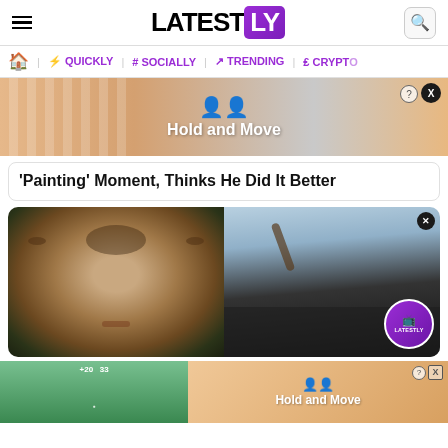LATESTLY
QUICKLY | # SOCIALLY | TRENDING | CRYPTO
[Figure (screenshot): Advertisement banner for 'Hold and Move' app showing two cartoon figures and striped background]
'Painting' Moment, Thinks He Did It Better
[Figure (photo): Split photo: left side shows a man's face closeup (Leonardo DiCaprio), right side shows a man drinking from a bottle at a celebration with crowd]
[Figure (screenshot): Advertisement banner for 'Hold and Move' app at bottom of page]